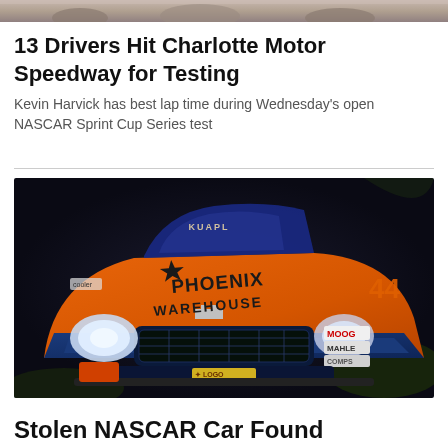[Figure (photo): Partial top strip of a photo — appears to show people at an event, cropped to a narrow band.]
13 Drivers Hit Charlotte Motor Speedway for Testing
Kevin Harvick has best lap time during Wednesday's open NASCAR Sprint Cup Series test
[Figure (photo): Close-up front view of a NASCAR Chevrolet SS #55 Phoenix Warehouse race car in orange and blue livery, with MOOG, MAHLE, and Contes sponsor logos visible. The car is parked or displayed outdoors at night.]
Stolen NASCAR Car Found